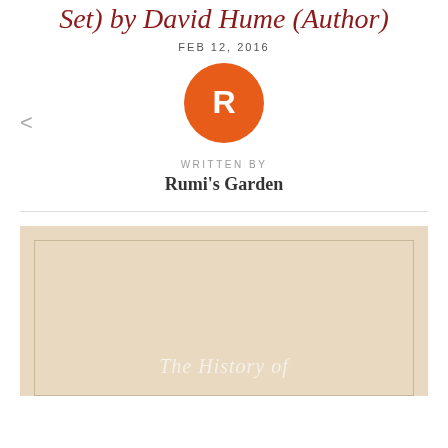Set) by David Hume (Author)
FEB 12, 2016
[Figure (illustration): Orange circle avatar with white letter R in the center]
WRITTEN BY
Rumi's Garden
[Figure (photo): Book cover with beige/tan background and inner border rectangle, showing italic text 'The History of' near the bottom]